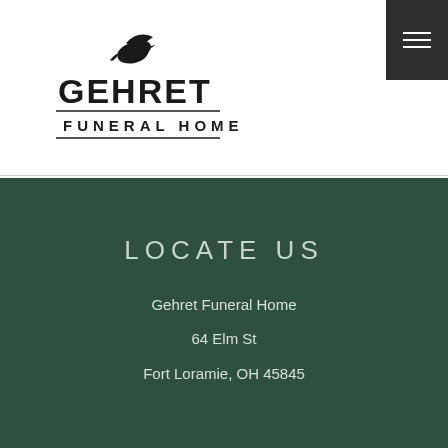[Figure (logo): Gehret Funeral Home logo with dove graphic and company name]
LOCATE US
Gehret Funeral Home
64 Elm St
Fort Loramie, OH 45845